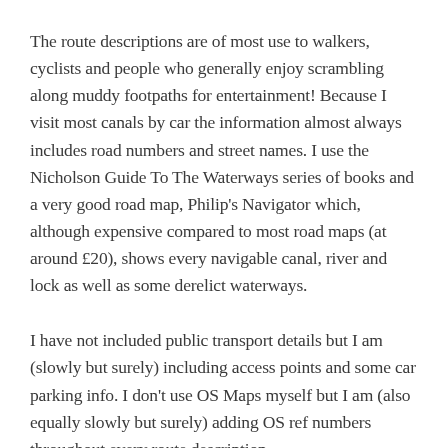The route descriptions are of most use to walkers, cyclists and people who generally enjoy scrambling along muddy footpaths for entertainment! Because I visit most canals by car the information almost always includes road numbers and street names. I use the Nicholson Guide To The Waterways series of books and a very good road map, Philip's Navigator which, although expensive compared to most road maps (at around £20), shows every navigable canal, river and lock as well as some derelict waterways.
I have not included public transport details but I am (slowly but surely) including access points and some car parking info. I don't use OS Maps myself but I am (also equally slowly but surely) adding OS ref numbers throughout every route description.